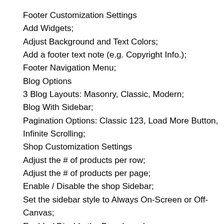Footer Customization Settings
Add Widgets;
Adjust Background and Text Colors;
Add a footer text note (e.g. Copyright Info.);
Footer Navigation Menu;
Blog Options
3 Blog Layouts: Masonry, Classic, Modern;
Blog With Sidebar;
Pagination Options: Classic 123, Load More Button, Infinite Scrolling;
Shop Customization Settings
Adjust the # of products per row;
Adjust the # of products per page;
Enable / Disable the shop Sidebar;
Set the sidebar style to Always On-Screen or Off-Canvas;
Enable / Disable the Breadcrumbs;
Enable / Disable the Quick View feature;
Enable / Disable ratings;
Display ratings in the shop catalog;